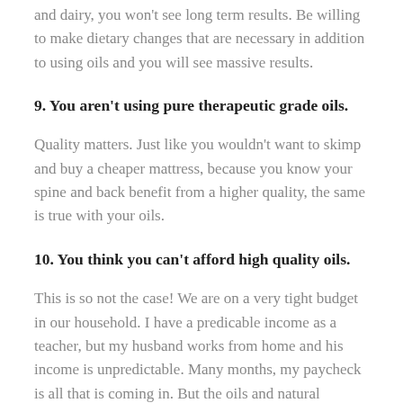and dairy, you won't see long term results. Be willing to make dietary changes that are necessary in addition to using oils and you will see massive results.
9. You aren't using pure therapeutic grade oils.
Quality matters. Just like you wouldn't want to skimp and buy a cheaper mattress, because you know your spine and back benefit from a higher quality, the same is true with your oils.
10. You think you can't afford high quality oils.
This is so not the case! We are on a very tight budget in our household. I have a predicable income as a teacher, but my husband works from home and his income is unpredictable. Many months, my paycheck is all that is coming in. But the oils and natural products that I